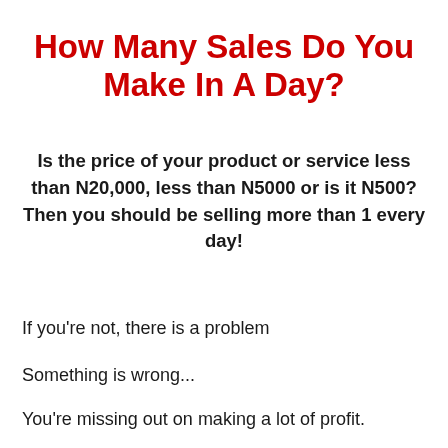How Many Sales Do You Make In A Day?
Is the price of your product or service less than N20,000, less than N5000 or is it N500? Then you should be selling more than 1 every day!
If you're not, there is a problem
Something is wrong...
You're missing out on making a lot of profit.